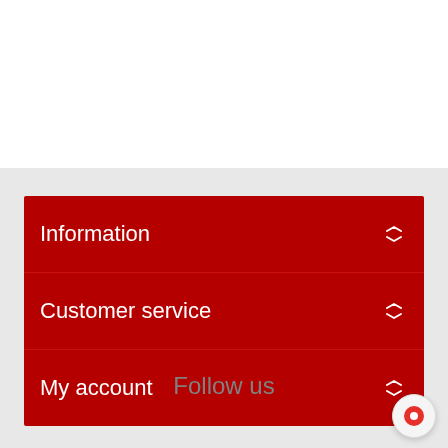Information
Customer service
My account
Follow us